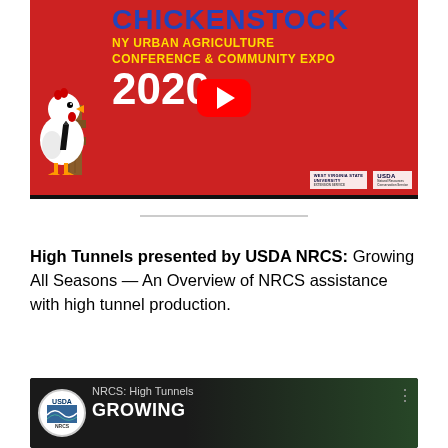[Figure (screenshot): YouTube video thumbnail for Chickenstock NY Urban Agriculture Conference & Community Expo 2020. Red background with cartoon chicken wearing tie on left, large blue CHICKENSTOCK text, yellow text 'NY URBAN AGRICULTURE CONFERENCE & COMMUNITY EXPO', white '2020', YouTube play button in center, West Virginia State University and USDA logos at bottom right.]
High Tunnels presented by USDA NRCS: Growing All Seasons — An Overview of NRCS assistance with high tunnel production.
[Figure (screenshot): YouTube video thumbnail for NRCS: High Tunnels video. Dark background with USDA NRCS circular logo on left, title 'NRCS: High Tunnels', large white text 'GROWING' visible, aerial photo of high tunnels in background.]